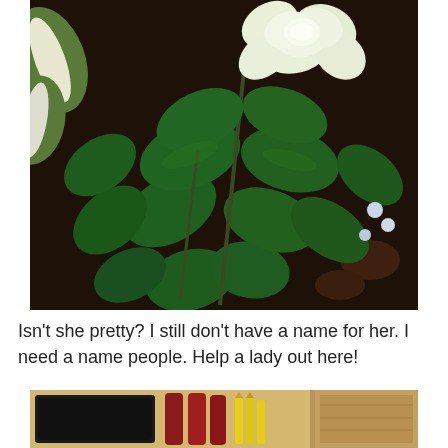[Figure (photo): Close-up photo of a rose plant with dark green leaves and a single white/cream rose bloom at the top center-right, with other plants visible in the background including hosta leaves and small flowers, on dark soil.]
Isn't she pretty? I still don't have a name for her. I need a name people. Help a lady out here!
[Figure (photo): Partial photo of a drawer or tray containing items including what appears to be red liquid bottles and yellow pencils or pens.]